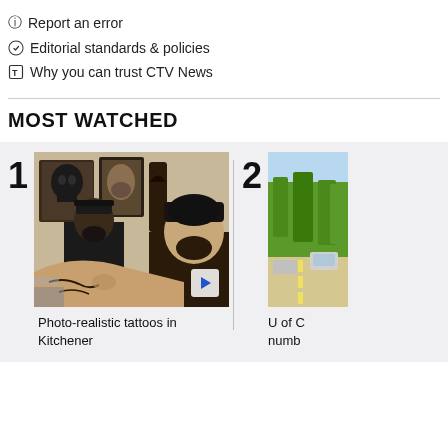Report an error
Editorial standards & policies
Why you can trust CTV News
MOST WATCHED
[Figure (photo): Thumbnail image showing a tattooed person getting work done by a tattoo artist in a studio setting, with artwork on the walls. Number 1 ranking label.]
Photo-realistic tattoos in Kitchener
[Figure (photo): Partially visible thumbnail image of an outdoor scene with trees and a road. Number 2 ranking label.]
U of C numb